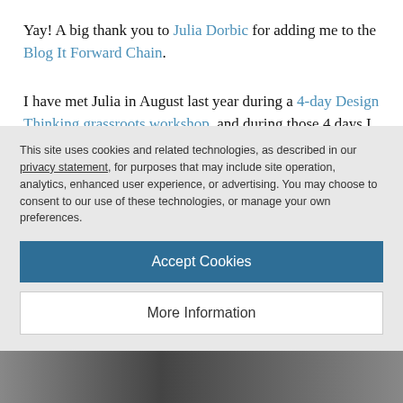Yay! A big thank you to Julia Dorbic for adding me to the Blog It Forward Chain.
I have met Julia in August last year during a 4-day Design Thinking grassroots workshop, and during those 4 days I not only learnt an insane lot about Design Thinking, I was also fortunate enough to know Julia as a warm, open personality, a true coach,
This site uses cookies and related technologies, as described in our privacy statement, for purposes that may include site operation, analytics, enhanced user experience, or advertising. You may choose to consent to our use of these technologies, or manage your own preferences.
Accept Cookies
More Information
Privacy Policy | Powered by: TrustArc
[Figure (photo): Bottom strip showing partial photo of people]